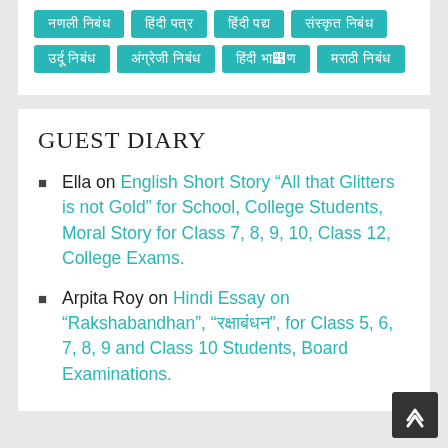[Figure (other): Tag cloud with teal/cyan colored tag buttons containing Hindi script text arranged in rows]
GUEST DIARY
Ella on English Short Story “All that Glitters is not Gold” for School, College Students, Moral Story for Class 7, 8, 9, 10, Class 12, College Exams.
Arpita Roy on Hindi Essay on “Rakshabandhan”, "रक्षाबंधन", for Class 5, 6, 7, 8, 9 and Class 10 Students, Board Examinations.